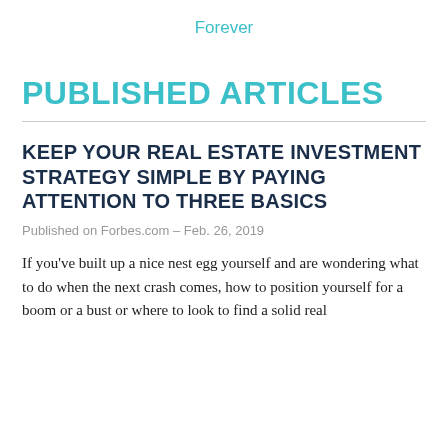Forever
PUBLISHED ARTICLES
KEEP YOUR REAL ESTATE INVESTMENT STRATEGY SIMPLE BY PAYING ATTENTION TO THREE BASICS
Published on Forbes.com – Feb. 26, 2019
If you've built up a nice nest egg yourself and are wondering what to do when the next crash comes, how to position yourself for a boom or a bust or where to look to find a solid real